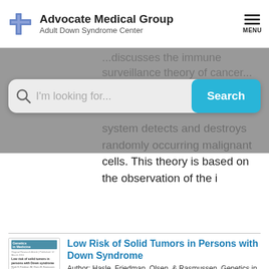[Figure (logo): Advocate Medical Group Adult Down Syndrome Center logo with blue cross icon]
Advocate Medical Group
Adult Down Syndrome Center
[Figure (screenshot): Search bar overlay with text 'I'm looking for...' and cyan Search button on gray background]
system detects and destroys randomly occurring malignant cells. This theory is based on the observation of the i
[Figure (screenshot): Thumbnail of journal article page from Genetics in Medicine]
Low Risk of Solid Tumors in Persons with Down Syndrome
Author: Hasle, Friedman, Olsen, & Rasmussen. Genetics in Medicine